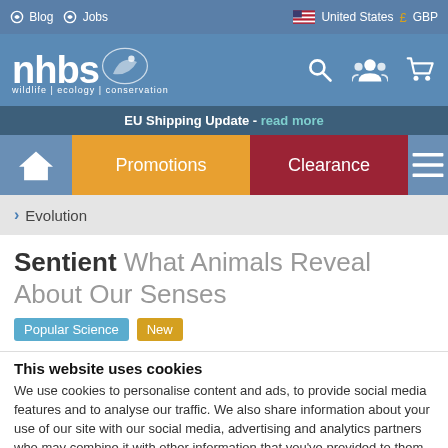Blog  Jobs  United States  GBP
[Figure (logo): NHBS wildlife ecology conservation logo with search, account, and cart icons]
EU Shipping Update - read more
Promotions  Clearance
> Evolution
Sentient What Animals Reveal About Our Senses
Popular Science  New
This website uses cookies
We use cookies to personalise content and ads, to provide social media features and to analyse our traffic. We also share information about your use of our site with our social media, advertising and analytics partners who may combine it with other information that you've provided to them or that they've collected from your use of their services.